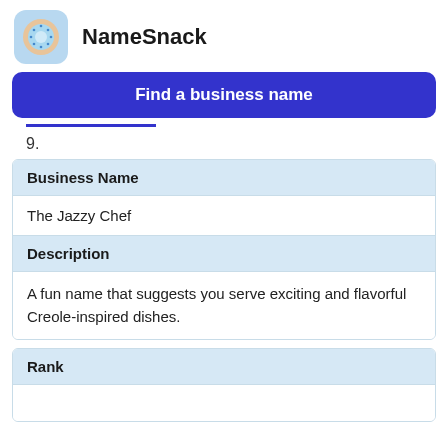NameSnack
Find a business name
9.
| Business Name |
| --- |
| The Jazzy Chef |
| Description |
| --- |
| A fun name that suggests you serve exciting and flavorful Creole-inspired dishes. |
| Rank |
| --- |
|  |